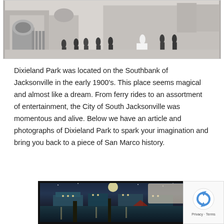[Figure (photo): Black and white historical photograph of Dixieland Park showing people walking in early 1900s attire near archways and park structures.]
Dixieland Park was located on the Southbank of Jacksonville in the early 1900's. This place seems magical and almost like a dream. From ferry rides to an assortment of entertainment, the City of South Jacksonville was momentous and alive. Below we have an article and photographs of Dixieland Park to spark your imagination and bring you back to a piece of San Marco history.
[Figure (photo): Colorized historical postcard image of Dixieland Park at night, showing illuminated buildings and attractions reflected on water under moonlight.]